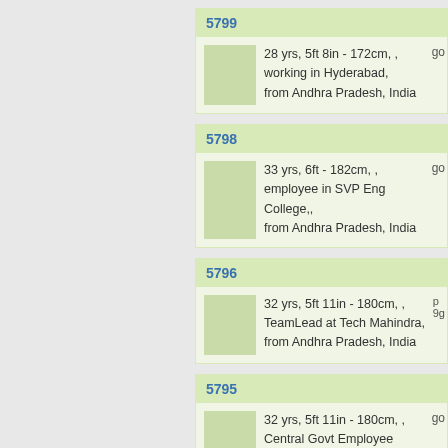5799
28 yrs, 5ft 8in - 172cm, , working in Hyderabad, from Andhra Pradesh, India
5798
33 yrs, 6ft - 182cm, , employee in SVP Eng College,, from Andhra Pradesh, India
5796
32 yrs, 5ft 11in - 180cm, , TeamLead at Tech Mahindra, from Andhra Pradesh, India
5795
32 yrs, 5ft 11in - 180cm, , Central Govt Employee (Hockey player), from Andhra Pradesh, India